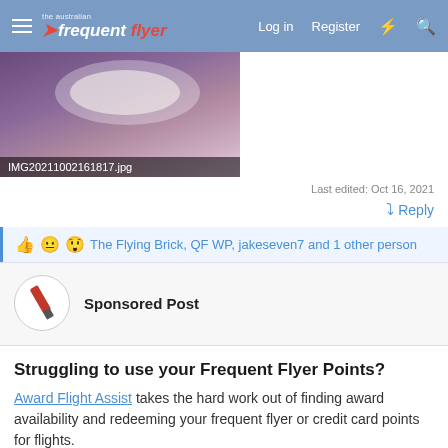The Australian Frequent Flyer | Log in | Register
[Figure (photo): Partial view of a food plate on a purple background, image file named IMG20211002161817.jpg]
Last edited: Oct 16, 2021
Reply
The Flying Brick, QF WP, jakeseven7 and 1 other person
Sponsored Post
Struggling to use your Frequent Flyer Points?
Award Flight Assist takes the hard work out of finding award availability and redeeming your frequent flyer or credit card points for flights.